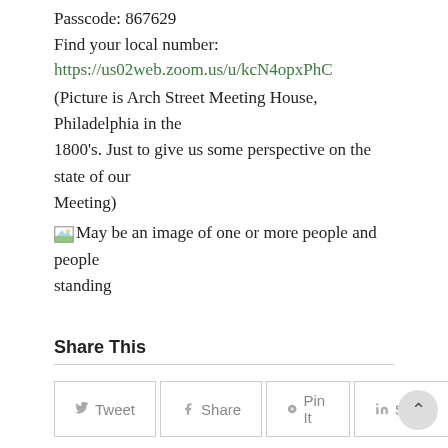Passcode: 867629
Find your local number:
https://us02web.zoom.us/u/kcN4opxPhC
(Picture is Arch Street Meeting House, Philadelphia in the 1800's. Just to give us some perspective on the state of our Meeting)
May be an image of one or more people and people standing
Share This
Tweet  Share  Pin It  Share
Related Posts
Earth Day (Virtual) Festival
EARTH DAY (VIRTUAL) FESTIVAL: Re-Imagining the Environment: Cherokee Group and Climate Chattanooga are